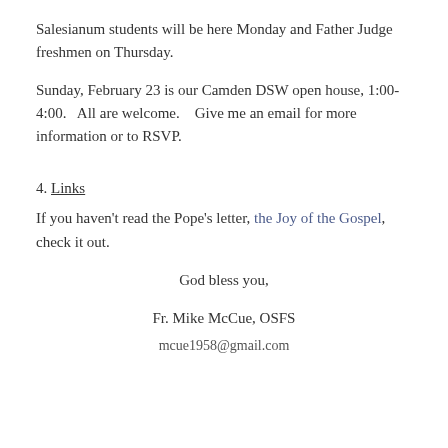Salesianum students will be here Monday and Father Judge freshmen on Thursday.
Sunday, February 23 is our Camden DSW open house, 1:00-4:00.   All are welcome.    Give me an email for more information or to RSVP.
4. Links
If you haven't read the Pope's letter, the Joy of the Gospel, check it out.
God bless you,
Fr. Mike McCue, OSFS
mcue1958@gmail.com